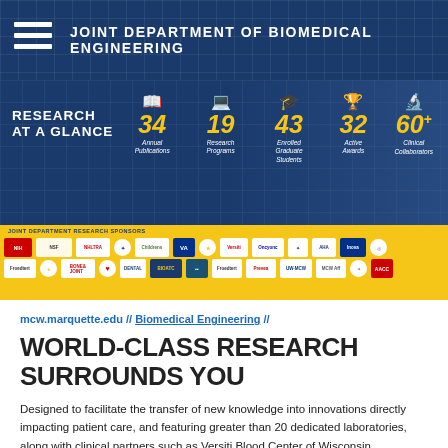JOINT DEPARTMENT OF BIOMEDICAL ENGINEERING
[Figure (infographic): Research at a Glance banner with stats: 34 Annual Publications, 19 Research Programs, 43 Enrolled Graduate Students, 32 Active Awards, 60+ Clinical Collaborators. Dark blue background with a researcher in the background.]
[Figure (infographic): Joint Department Research Sponsors strip with multiple sponsor logos on a yellow/gold background.]
mcw.marquette.edu // Biomedical Engineering //
WORLD-CLASS RESEARCH SURROUNDS YOU
Designed to facilitate the transfer of new knowledge into innovations directly impacting patient care, and featuring greater than 20 dedicated laboratories, along with clinical partners such as Versiti Blood Center of Wisconsin, Children's Wisconsin, Zablocki VA...